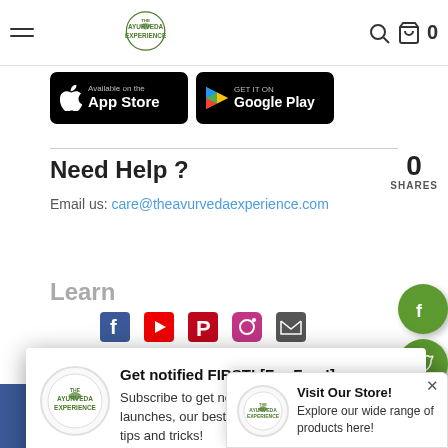The Ayurveda Experience — navigation header with logo, search, cart (0)
[Figure (screenshot): App Store download button (black)]
[Figure (screenshot): Google Play download button (black)]
Need Help ?
0 SHARES
Email us: care@theavurvedaexperience.com
Learn
[Figure (screenshot): Notification popup: Get notified FIRST! [For Free!] — Subscribe to get notified for new product launches, our best offers and exclusive Ayurvedic tips and tricks! Don't Allow / Allow buttons]
[Figure (screenshot): Visit Our Store popup — Explore our wide range of products here! with close button]